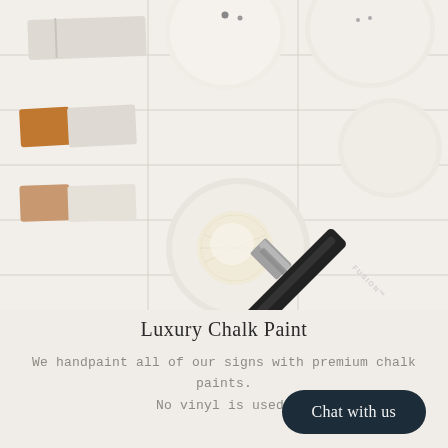[Figure (photo): Overhead photo of chalk paint swatches on wood sticks, round white paint palette dishes, and a Fusion-branded paint brush with natural bristles, all laid on a white shiplap wood surface.]
Luxury Chalk Paint
We handpaint all of our signs with premium chalk paints. No vinyl is used.
Chat with us